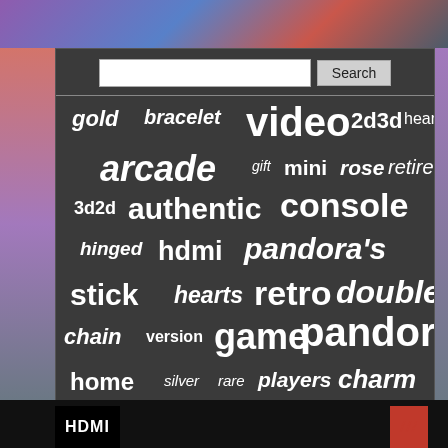[Figure (screenshot): Website screenshot showing a tag/word cloud on a dark background with a search bar. Words include: gold, bracelet, video, 2d3d, heart, arcade, gift, mini, rose, retired, 3d2d, authentic, console, hinged, hdmi, pandora's, stick, hearts, retro, double, chain, version, game, pandora, home, silver, rare, players, charm, games, 14kt, machine, wifi, necklace, withbox]